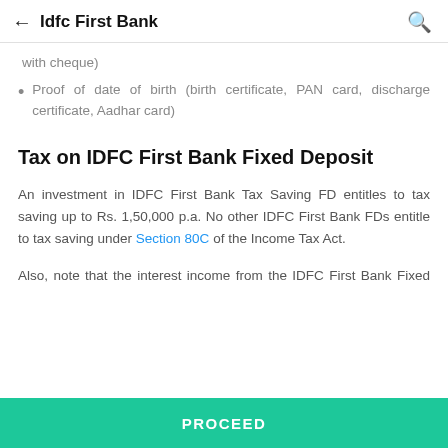Idfc First Bank
with cheque)
Proof of date of birth (birth certificate, PAN card, discharge certificate, Aadhar card)
Tax on IDFC First Bank Fixed Deposit
An investment in IDFC First Bank Tax Saving FD entitles to tax saving up to Rs. 1,50,000 p.a. No other IDFC First Bank FDs entitle to tax saving under Section 80C of the Income Tax Act.
Also, note that the interest income from the IDFC First Bank Fixed Deposit is taxable according to the slab rates of income...